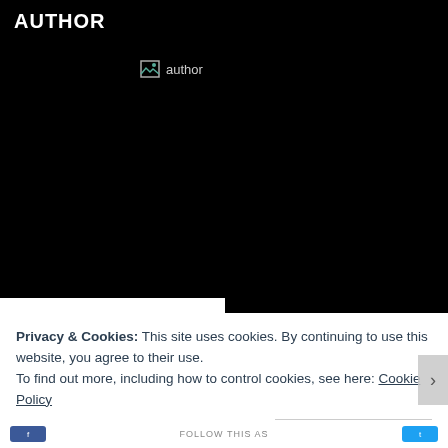AUTHOR
[Figure (photo): Broken image placeholder labeled 'author' on black background]
[Figure (logo): Amazon logo partially visible at bottom left, large bold letters]
Privacy & Cookies: This site uses cookies. By continuing to use this website, you agree to their use. To find out more, including how to control cookies, see here: Cookie Policy
Close and accept